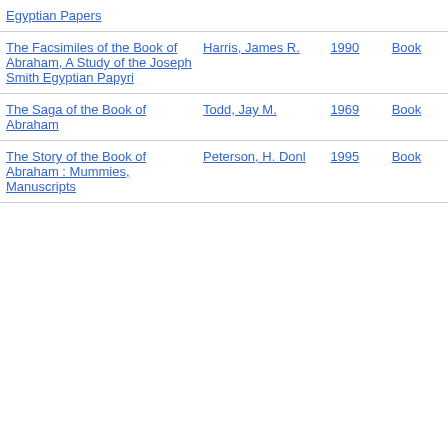| Title | Author | Year | Type |
| --- | --- | --- | --- |
| Egyptian Papers |  |  |  |
| The Facsimiles of the Book of Abraham, A Study of the Joseph Smith Egyptian Papyri | Harris, James R. | 1990 | Book |
| The Saga of the Book of Abraham | Todd, Jay M. | 1969 | Book |
| The Story of the Book of Abraham : Mummies, Manuscripts... | Peterson, H. Donl | 1995 | Book |